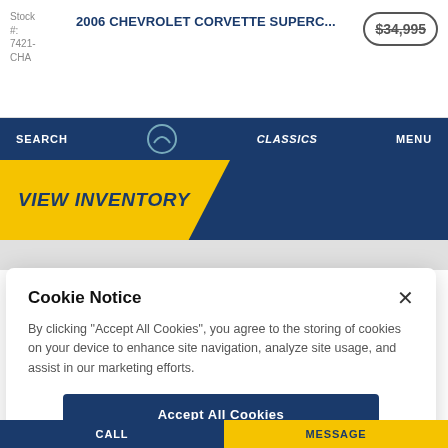Stock #: 7421-CHA | 2006 CHEVROLET CORVETTE SUPERC... | $34,995
SEARCH | CLASSICS | MENU
VIEW INVENTORY
Cookie Notice
By clicking "Accept All Cookies", you agree to the storing of cookies on your device to enhance site navigation, analyze site usage, and assist in our marketing efforts.
Accept All Cookies
Cookies Settings
CALL | MESSAGE